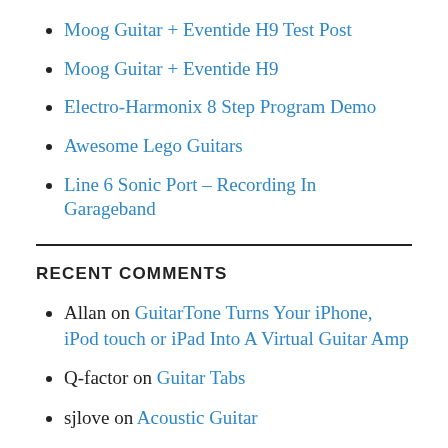Moog Guitar + Eventide H9 Test Post
Moog Guitar + Eventide H9
Electro-Harmonix 8 Step Program Demo
Awesome Lego Guitars
Line 6 Sonic Port – Recording In Garageband
RECENT COMMENTS
Allan on GuitarTone Turns Your iPhone, iPod touch or iPad Into A Virtual Guitar Amp
Q-factor on Guitar Tabs
sjlove on Acoustic Guitar
DJ Touchbeats on Misa Digital Instruments Kite...